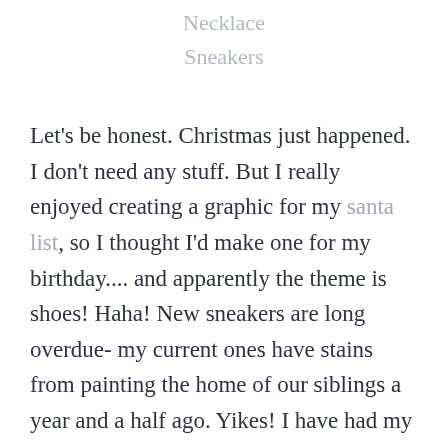Necklace
Sneakers
Let's be honest. Christmas just happened. I don't need any stuff. But I really enjoyed creating a graphic for my santa list, so I thought I'd make one for my birthday.... and apparently the theme is shoes! Haha! New sneakers are long overdue- my current ones have stains from painting the home of our siblings a year and a half ago. Yikes! I have had my eye on the Sam Edelman booties for some time.. and think that the Tory Burch espadrilles are super fresh for Spring. I've literally drooled over the signature magnolia wreath from